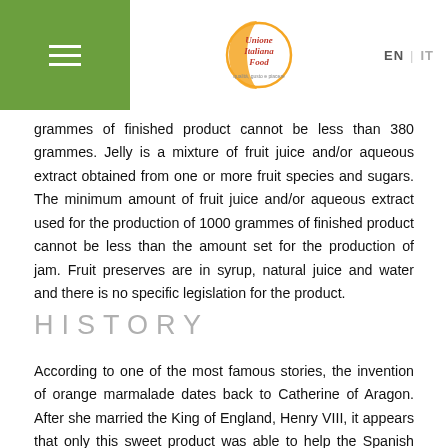Unione Italiana Food — EN | IT
grammes of finished product cannot be less than 380 grammes. Jelly is a mixture of fruit juice and/or aqueous extract obtained from one or more fruit species and sugars. The minimum amount of fruit juice and/or aqueous extract used for the production of 1000 grammes of finished product cannot be less than the amount set for the production of jam. Fruit preserves are in syrup, natural juice and water and there is no specific legislation for the product.
HISTORY
According to one of the most famous stories, the invention of orange marmalade dates back to Catherine of Aragon. After she married the King of England, Henry VIII, it appears that only this sweet product was able to help the Spanish queen overcome her terrible nostalgia for the fruit of her country. Queen Maria de Medici is the protagonist of another curious legend. After her marriage to Henry IV, Maria moved to France,